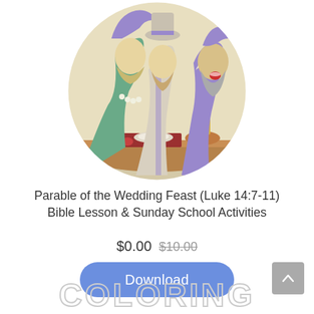[Figure (illustration): Circular illustration showing three bearded men in ancient Middle Eastern robes and headwear seated at a feast table with food including meat, vegetables, and a cup. The characters appear in a cartoon/comic style with muted colors.]
Parable of the Wedding Feast (Luke 14:7-11) Bible Lesson & Sunday School Activities
$0.00  $10.00
[Figure (other): Blue rounded rectangle Download button with white text]
[Figure (other): Gray scroll-to-top button with upward chevron arrow in bottom right corner]
COLORING